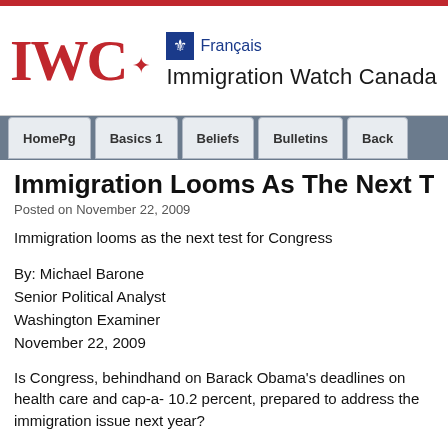[Figure (logo): Immigration Watch Canada logo with IWC text in red, maple leaf, fleur-de-lis icon and Français link, and site name Immigration Watch Canada]
HomePg | Basics 1 | Beliefs | Bulletins | Back
Immigration Looms As The Next Test For Co
Posted on November 22, 2009
Immigration looms as the next test for Congress
By: Michael Barone
Senior Political Analyst
Washington Examiner
November 22, 2009
Is Congress, behindhand on Barack Obama's deadlines on health care and cap-a- 10.2 percent, prepared to address the immigration issue next year?